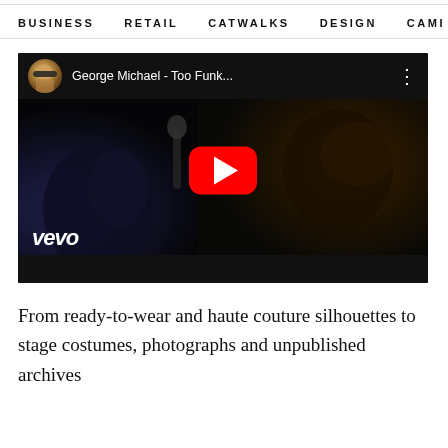BUSINESS   RETAIL   CATWALKS   DESIGN   CAMI  >
[Figure (screenshot): YouTube video thumbnail for 'George Michael - Too Funk...' showing a dark scene with a person wearing a cap, microphone visible, YouTube play button in center, vevo logo bottom left]
From ready-to-wear and haute couture silhouettes to stage costumes, photographs and unpublished archives